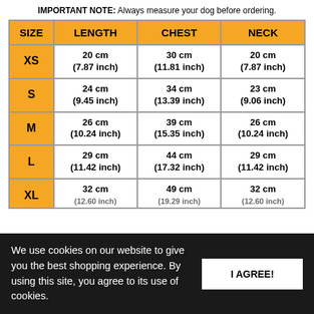IMPORTANT NOTE: Always measure your dog before ordering.
| SIZE | LENGTH | CHEST | NECK |
| --- | --- | --- | --- |
| XS | 20 cm
(7.87 inch) | 30 cm
(11.81 inch) | 20 cm
(7.87 inch) |
| S | 24 cm
(9.45 inch) | 34 cm
(13.39 inch) | 23 cm
(9.06 inch) |
| M | 26 cm
(10.24 inch) | 39 cm
(15.35 inch) | 26 cm
(10.24 inch) |
| L | 29 cm
(11.42 inch) | 44 cm
(17.32 inch) | 29 cm
(11.42 inch) |
| XL | 32 cm
(12.60 inch) | 49 cm
(19.29 inch) | 32 cm
(12.60 inch) |
We use cookies on our website to give you the best shopping experience. By using this site, you agree to its use of cookies.